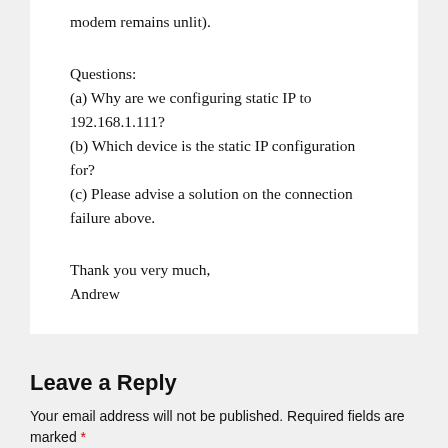modem remains unlit).
Questions:
(a) Why are we configuring static IP to 192.168.1.111?
(b) Which device is the static IP configuration for?
(c) Please advise a solution on the connection failure above.
Thank you very much,
Andrew
Leave a Reply
Your email address will not be published. Required fields are marked *